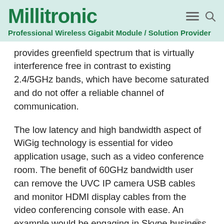Millitronic
Professional Wireless Gigabit Module / Solution Provider
provides greenfield spectrum that is virtually interference free in contrast to existing 2.4/5GHz bands, which have become saturated and do not offer a reliable channel of communication.
The low latency and high bandwidth aspect of WiGig technology is essential for video application usage, such as a video conference room. The benefit of 60GHz bandwidth user can remove the UVC IP camera USB cables and monitor HDMI display cables from the video conferencing console with ease. An example would be engaging in Skype business conferences using a single console.
“The introduction of the HIVE and MG360 wireless video product brings forth a new era of performance